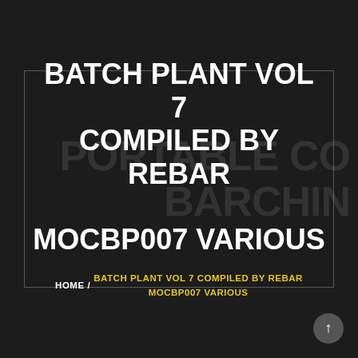[Figure (screenshot): Dark background with faint watermark text reading 'PORTABLE CONCRETE BARCODING PLANT']
BATCH PLANT VOL 7 COMPILED BY REBAR MOCBP007 VARIOUS
HOME / BATCH PLANT VOL 7 COMPILED BY REBAR MOCBP007 VARIOUS